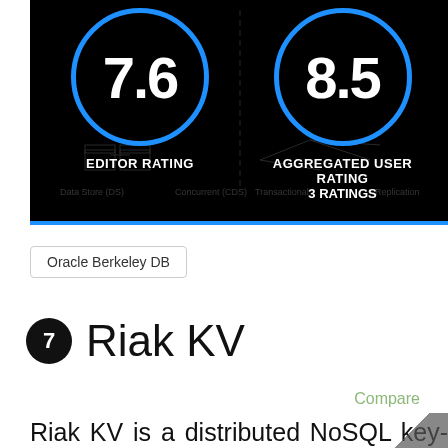[Figure (screenshot): Dark background screenshot showing two rating circles: left circle shows 7.6 with label 'EDITOR RATING', right circle shows 8.5 with label 'AGGREGATED USER RATING / 3 RATINGS'. Background shows database diagram imagery.]
Oracle Berkeley DB
7 Riak KV
Compare
Riak KV is a distributed NoSQL key-value database with advanced local